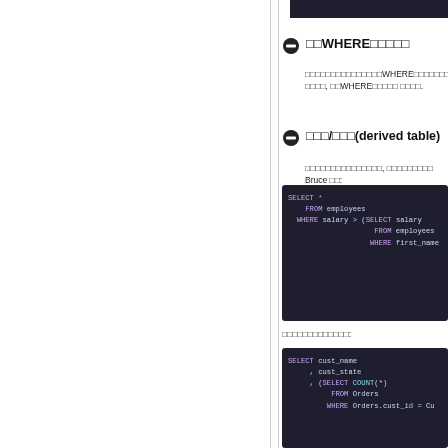⬤ □□WHERE□□□□□
□□□□□□□□□□□□□□□WHERE□□□□□□□□□□□□□□, □□□□, □□WHERE□□□□□ □□□□.
⬤ □□□/□□□(derived table)
□□□□□□□□□□□□□□□, □□□□□□□□□ Bruce □□:
[Figure (screenshot): SQL code block: SELECT * FROM employees WHERE salary > (SELECT salary FROM employees WHERE first_name ...]
□□□□□□□□□□□□□:
[Figure (screenshot): SQL code block: SELECT cust_name , cust_state , (SELECT COUNT(*) FROM Orders WHERE Orders.cust_id = Cu... id) AS ...]